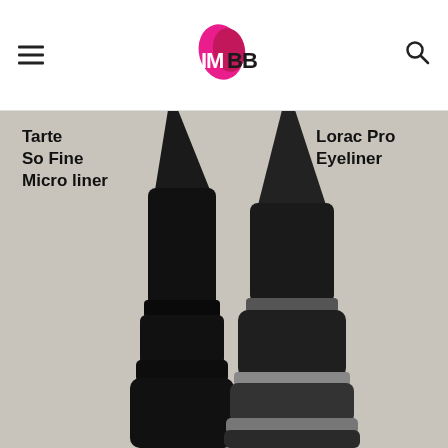IMBB logo with hamburger menu and search icon
[Figure (photo): Close-up comparison of two eyeliner pen tips: Tarte So Fine Micro liner (left, black matte body) and Lorac Pro Eyeliner (right, black and silver body), both uncapped showing their fine felt tips, photographed against a light gray background. Text labels identify each product.]